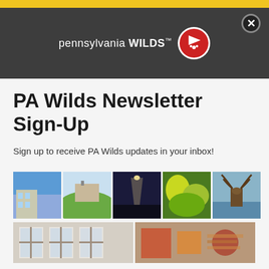[Figure (logo): Yellow navigation bar at top of webpage]
[Figure (logo): Dark gray header with Pennsylvania Wilds logo — text 'pennsylvania WILDS' with trademark symbol and red circular flag/paw badge icon, plus close (X) button in top right]
PA Wilds Newsletter Sign-Up
Sign up to receive PA Wilds updates in your inbox!
[Figure (photo): Row of five thumbnail photos: building exterior with blue sky, green rolling hills with structure, dark sky with light beam, bright yellow-green foliage, elk antlers near water]
[Figure (photo): Two larger thumbnail photos side by side at bottom: interior room with windows (left), colorful mural/artwork (right)]